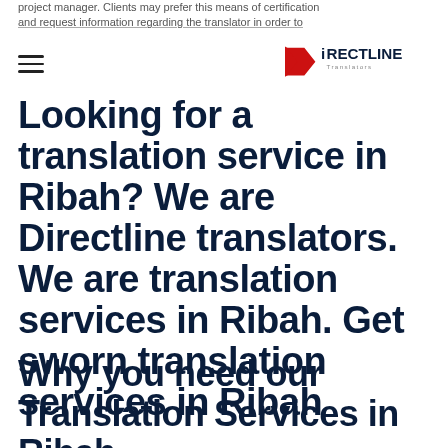project manager. Clients may prefer this means of certification and request information regarding the translator in order to
Directline Translators logo and navigation
Looking for a translation service in Ribah? We are Directline translators. We are translation services in Ribah. Get sworn translation services in Ribah
Why you need our Translation Services in Ribah